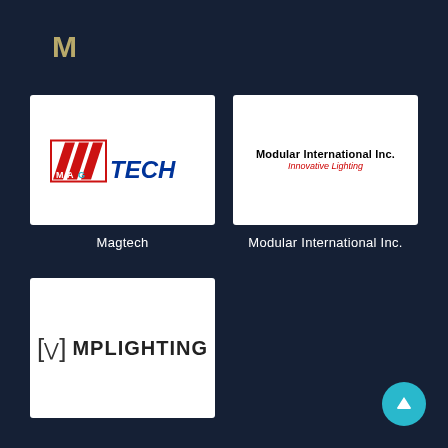M
[Figure (logo): Magtech logo: red parallelogram shapes spelling MAG with TECH in blue block letters]
Magtech
[Figure (logo): Modular International Inc. logo with text 'Modular International Inc.' in bold black and 'Innovative Lighting' in red italic]
Modular International Inc.
[Figure (logo): MP Lighting logo with bracket symbol and bold text MPLIGHTING]